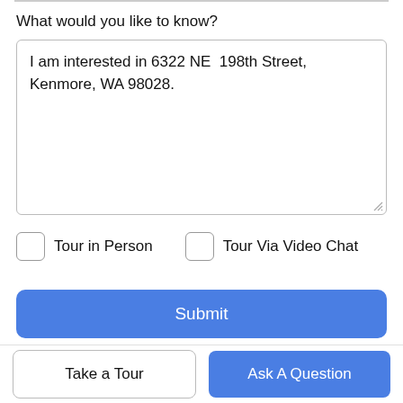What would you like to know?
I am interested in 6322 NE  198th Street, Kenmore, WA 98028.
Tour in Person
Tour Via Video Chat
Submit
Disclaimer: By entering your information and clicking "Continue With Email," you agree to our Terms of Use and Privacy Policy and that real estate professionals may call/text you about your inquiry, which may involve the use of automate...
Take a Tour
Ask A Question